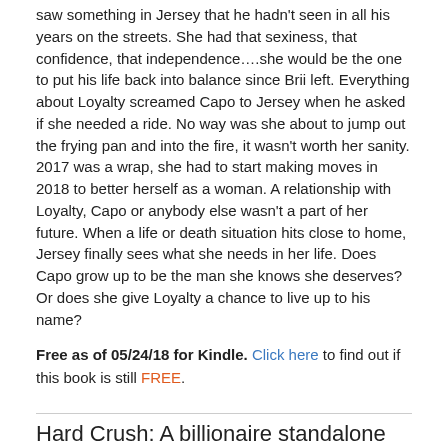saw something in Jersey that he hadn't seen in all his years on the streets. She had that sexiness, that confidence, that independence….she would be the one to put his life back into balance since Brii left. Everything about Loyalty screamed Capo to Jersey when he asked if she needed a ride. No way was she about to jump out the frying pan and into the fire, it wasn't worth her sanity. 2017 was a wrap, she had to start making moves in 2018 to better herself as a woman. A relationship with Loyalty, Capo or anybody else wasn't a part of her future. When a life or death situation hits close to home, Jersey finally sees what she needs in her life. Does Capo grow up to be the man she knows she deserves? Or does she give Loyalty a chance to live up to his name?
Free as of 05/24/18 for Kindle. Click here to find out if this book is still FREE.
Hard Crush: A billionaire standalone romance
By Mira Lyn Kelly / Genre: Contemporary, Romance